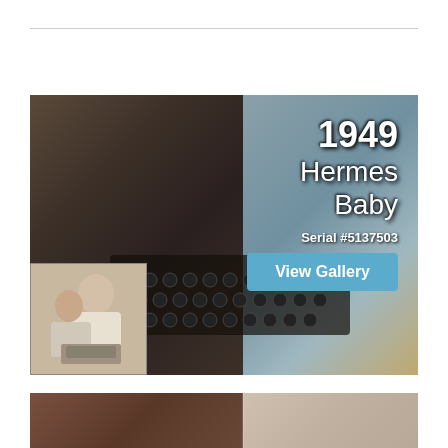[Figure (photo): 1949 Hermes Baby typewriter photograph with overlay text showing '1949 Hermes Baby', 'Serial #5137503', and a 'View Gallery' button. A small inset photo shows a person looking at a typewriter.]
[Figure (photo): Partial view of another typewriter at the bottom of the page, showing a brown/wooden case on the left and lighter colored typewriter on the right.]